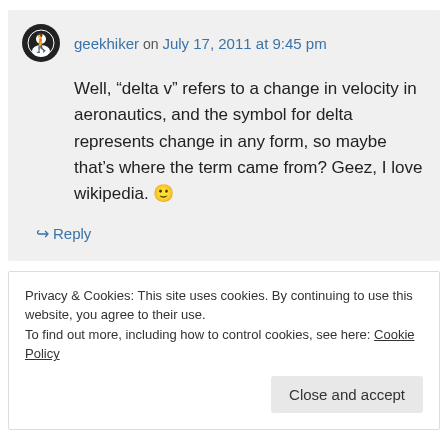geekhiker on July 17, 2011 at 9:45 pm
Well, “delta v” refers to a change in velocity in aeronautics, and the symbol for delta represents change in any form, so maybe that’s where the term came from? Geez, I love wikipedia. 🙂
↪ Reply
Privacy & Cookies: This site uses cookies. By continuing to use this website, you agree to their use.
To find out more, including how to control cookies, see here: Cookie Policy
Close and accept